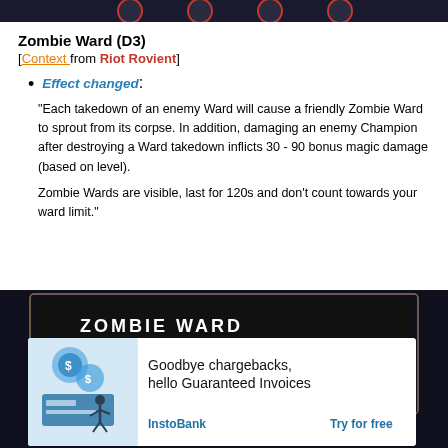[Figure (screenshot): Dark game UI bar at the top with circular icons with red borders]
Zombie Ward (D3)
[Context from Riot Rovient]
Effect changed: "Each takedown of an enemy Ward will cause a friendly Zombie Ward to sprout from its corpse. In addition, damaging an enemy Champion after destroying a Ward takedown inflicts 30 - 90 bonus magic damage (based on level). Zombie Wards are visible, last for 120s and don't count towards your ward limit."
[Figure (screenshot): Dark game UI panel showing ZOMBIE WARD title with an advertisement overlay for InstoBank Guaranteed Invoices]